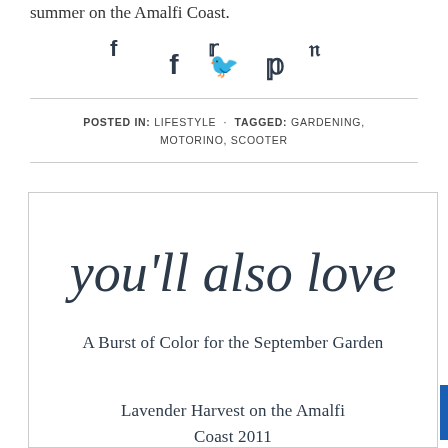summer on the Amalfi Coast.
[Figure (illustration): Social sharing icons: Facebook (f), Twitter (bird), Pinterest (P)]
POSTED IN: LIFESTYLE · TAGGED: GARDENING, MOTORINO, SCOOTER
[Figure (illustration): Decorative script text reading 'you'll also love']
A Burst of Color for the September Garden
Lavender Harvest on the Amalfi Coast 2011